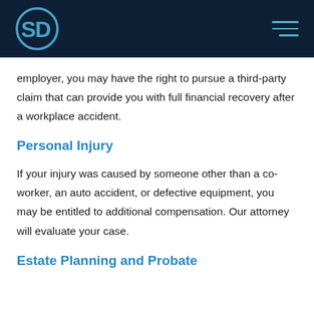SD logo and navigation menu
employer, you may have the right to pursue a third-party claim that can provide you with full financial recovery after a workplace accident.
Personal Injury
If your injury was caused by someone other than a co-worker, an auto accident, or defective equipment, you may be entitled to additional compensation. Our attorney will evaluate your case.
Estate Planning and Probate